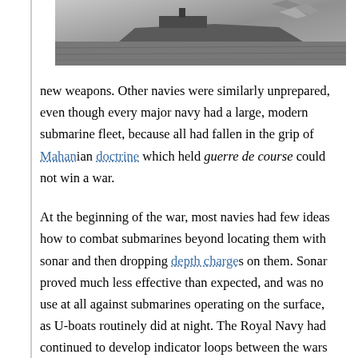[Figure (photo): Black and white photograph of naval vessels or ships at sea, partially cropped at top of page]
new weapons. Other navies were similarly unprepared, even though every major navy had a large, modern submarine fleet, because all had fallen in the grip of Mahanian doctrine which held guerre de course could not win a war.
At the beginning of the war, most navies had few ideas how to combat submarines beyond locating them with sonar and then dropping depth charges on them. Sonar proved much less effective than expected, and was no use at all against submarines operating on the surface, as U-boats routinely did at night. The Royal Navy had continued to develop indicator loops between the wars but this was a